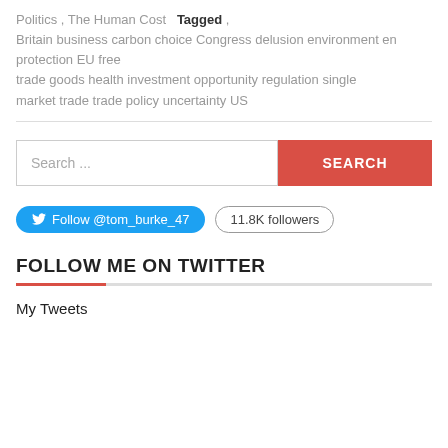Politics , The Human Cost   Tagged , Britain business carbon choice Congress delusion environment en protection EU free trade goods health investment opportunity regulation single market trade trade policy uncertainty US
Search ...  SEARCH
Follow @tom_burke_47   11.8K followers
FOLLOW ME ON TWITTER
My Tweets